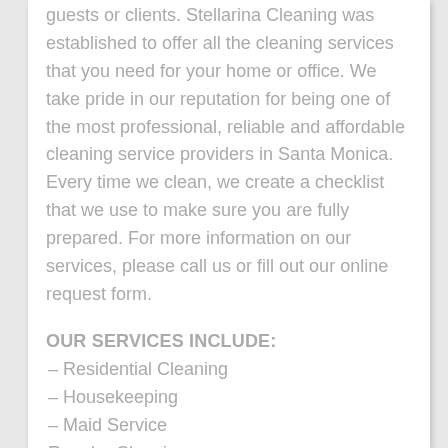guests or clients. Stellarina Cleaning was established to offer all the cleaning services that you need for your home or office. We take pride in our reputation for being one of the most professional, reliable and affordable cleaning service providers in Santa Monica. Every time we clean, we create a checklist that we use to make sure you are fully prepared. For more information on our services, please call us or fill out our online request form.
OUR SERVICES INCLUDE:
– Residential Cleaning
– Housekeeping
– Maid Service
Regular Cleaning
– Deep Cleaning
– Commercial Cleaning
Cleaning of the Office